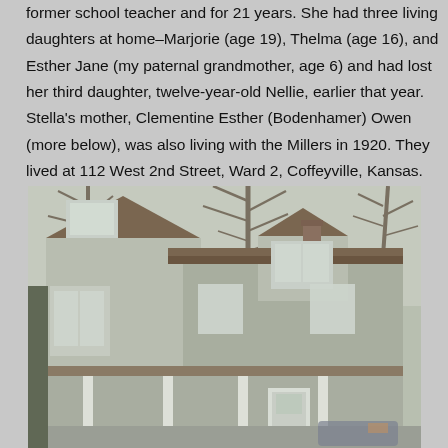former school teacher and for 21 years. She had three living daughters at home–Marjorie (age 19), Thelma (age 16), and Esther Jane (my paternal grandmother, age 6) and had lost her third daughter, twelve-year-old Nellie, earlier that year. Stella's mother, Clementine Esther (Bodenhamer) Owen (more below), was also living with the Millers in 1920. They lived at 112 West 2nd Street, Ward 2, Coffeyville, Kansas.
[Figure (photo): A two-story light green/gray house with dormers, bay window on the left side, front porch with white columns, brown shingled roof, bare trees in the background, taken in winter or early spring.]